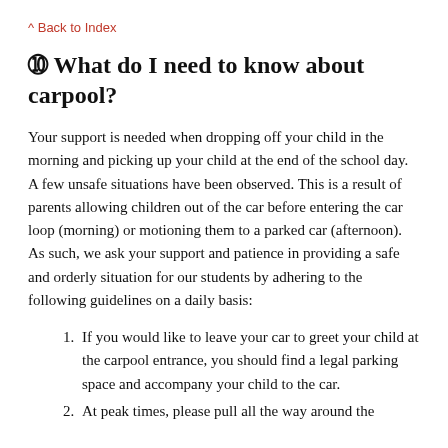^ Back to Index
❷ What do I need to know about carpool?
Your support is needed when dropping off your child in the morning and picking up your child at the end of the school day. A few unsafe situations have been observed. This is a result of parents allowing children out of the car before entering the car loop (morning) or motioning them to a parked car (afternoon). As such, we ask your support and patience in providing a safe and orderly situation for our students by adhering to the following guidelines on a daily basis:
If you would like to leave your car to greet your child at the carpool entrance, you should find a legal parking space and accompany your child to the car.
At peak times, please pull all the way around the